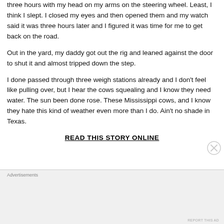three hours with my head on my arms on the steering wheel. Least, I think I slept. I closed my eyes and then opened them and my watch said it was three hours later and I figured it was time for me to get back on the road.
Out in the yard, my daddy got out the rig and leaned against the door to shut it and almost tripped down the step.
I done passed through three weigh stations already and I don't feel like pulling over, but I hear the cows squealing and I know they need water. The sun been done rose. These Mississippi cows, and I know they hate this kind of weather even more than I do. Ain't no shade in Texas.
READ THIS STORY ONLINE
Advertisements
REPORT THIS AD